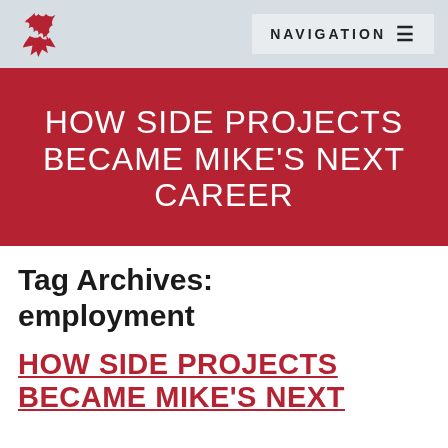NAVIGATION
HOW SIDE PROJECTS BECAME MIKE'S NEXT CAREER
Tag Archives: employment
HOW SIDE PROJECTS BECAME MIKE'S NEXT